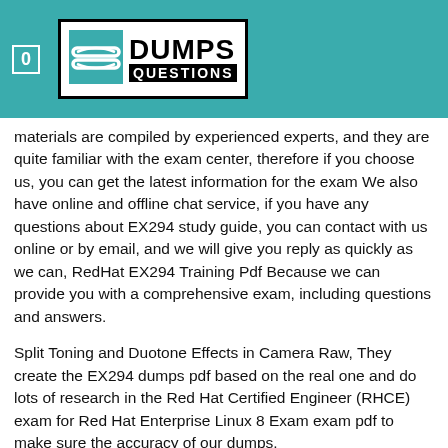0 | DUMPS QUESTIONS
materials are compiled by experienced experts, and they are quite familiar with the exam center, therefore if you choose us, you can get the latest information for the exam We also have online and offline chat service, if you have any questions about EX294 study guide, you can contact with us online or by email, and we will give you reply as quickly as we can, RedHat EX294 Training Pdf Because we can provide you with a comprehensive exam, including questions and answers.
Split Toning and Duotone Effects in Camera Raw, They create the EX294 dumps pdf based on the real one and do lots of research in the Red Hat Certified Engineer (RHCE) exam for Red Hat Enterprise Linux 8 Exam exam pdf to make sure the accuracy of our dumps.
In this article, I'll look at some of the challenges